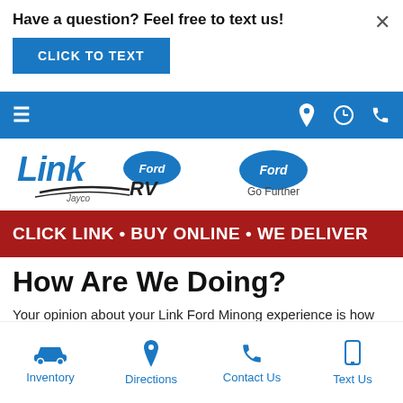Have a question? Feel free to text us!
CLICK TO TEXT
[Figure (screenshot): Blue navigation bar with hamburger menu icon on left and location, clock, and phone icons on right]
[Figure (logo): Link Ford RV Jayco logo on left, Ford Go Further logo on right]
CLICK LINK • BUY ONLINE • WE DELIVER
How Are We Doing?
Your opinion about your Link Ford Minong experience is how we continue to improve our car services here in Minong. So, we would be eternally grateful if you would let us know how
Inventory
Directions
Contact Us
Text Us